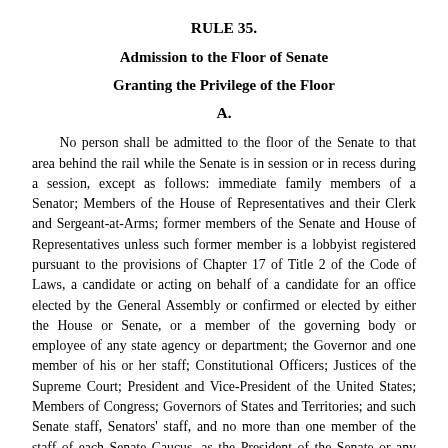RULE 35.
Admission to the Floor of Senate
Granting the Privilege of the Floor
A.
No person shall be admitted to the floor of the Senate to that area behind the rail while the Senate is in session or in recess during a session, except as follows: immediate family members of a Senator; Members of the House of Representatives and their Clerk and Sergeant-at-Arms; former members of the Senate and House of Representatives unless such former member is a lobbyist registered pursuant to the provisions of Chapter 17 of Title 2 of the Code of Laws, a candidate or acting on behalf of a candidate for an office elected by the General Assembly or confirmed or elected by either the House or Senate, or a member of the governing body or employee of any state agency or department; the Governor and one member of his or her staff; Constitutional Officers; Justices of the Supreme Court; President and Vice-President of the United States; Members of Congress; Governors of States and Territories; and such Senate staff, Senators' staff, and no more than one member of the staff of each Senate Caucus, as the President of the Senate or any Member or Officer of the Senate may see fit to invite to a seat behind the rail Members of the House of Representatives; and